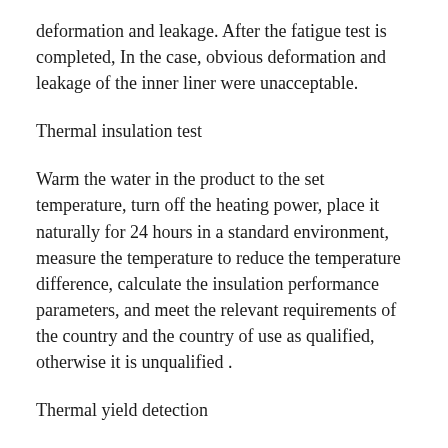deformation and leakage. After the fatigue test is completed, In the case, obvious deformation and leakage of the inner liner were unacceptable.
Thermal insulation test
Warm the water in the product to the set temperature, turn off the heating power, place it naturally for 24 hours in a standard environment, measure the temperature to reduce the temperature difference, calculate the insulation performance parameters, and meet the relevant requirements of the country and the country of use as qualified, otherwise it is unqualified .
Thermal yield detection